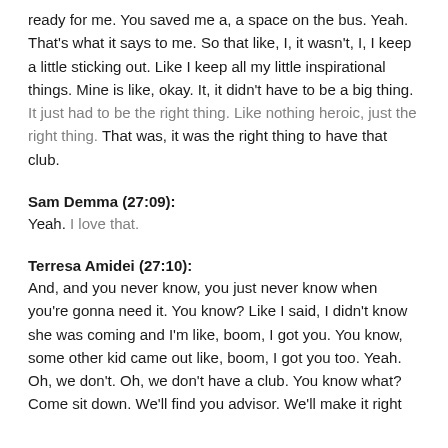ready for me. You saved me a, a space on the bus. Yeah. That's what it says to me. So that like, I, it wasn't, I, I keep a little sticking out. Like I keep all my little inspirational things. Mine is like, okay. It, it didn't have to be a big thing. It just had to be the right thing. Like nothing heroic, just the right thing. That was, it was the right thing to have that club.
Sam Demma (27:09):
Yeah. I love that.
Terresa Amidei (27:10):
And, and you never know, you just never know when you're gonna need it. You know? Like I said, I didn't know she was coming and I'm like, boom, I got you. You know, some other kid came out like, boom, I got you too. Yeah. Oh, we don't. Oh, we don't have a club. You know what? Come sit down. We'll find you advisor. We'll make it right